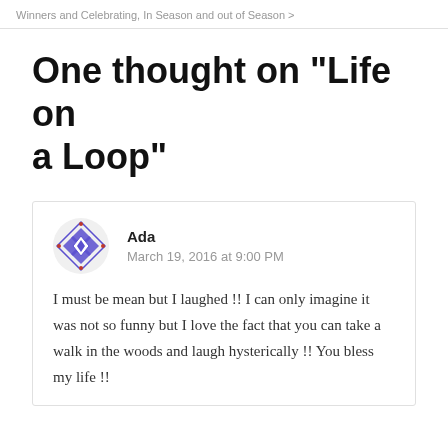Winners and Celebrating, In Season and out of Season >
One thought on “Life on a Loop”
Ada
March 19, 2016 at 9:00 PM

I must be mean but I laughed !! I can only imagine it was not so funny but I love the fact that you can take a walk in the woods and laugh hysterically !! You bless my life !!